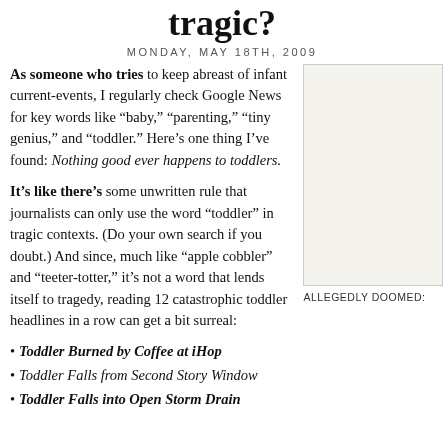tragic?
MONDAY, MAY 18TH, 2009
As someone who tries to keep abreast of infant current-events, I regularly check Google News for key words like “baby,” “parenting,” “tiny genius,” and “toddler.” Here’s one thing I’ve found: Nothing good ever happens to toddlers.
[Figure (photo): Image box with light beige background, partially visible on right side]
ALLEGEDLY DOOMED:
It’s like there’s some unwritten rule that journalists can only use the word “toddler” in tragic contexts. (Do your own search if you doubt.) And since, much like “apple cobbler” and “teeter-totter,” it’s not a word that lends itself to tragedy, reading 12 catastrophic toddler headlines in a row can get a bit surreal:
Toddler Burned by Coffee at iHop
Toddler Falls from Second Story Window
Toddler Falls into Open Storm Drain